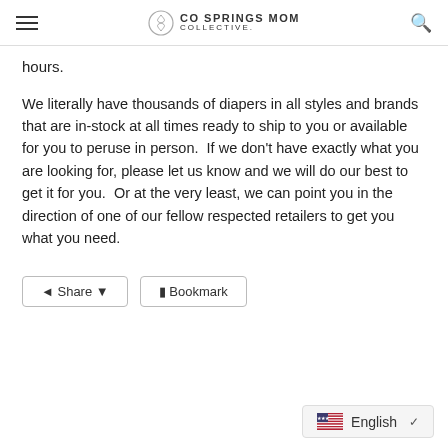CO SPRINGS MOM COLLECTIVE.
hours.
We literally have thousands of diapers in all styles and brands that are in-stock at all times ready to ship to you or available for you to peruse in person.  If we don't have exactly what you are looking for, please let us know and we will do our best to get it for you.  Or at the very least, we can point you in the direction of one of our fellow respected retailers to get you what you need.